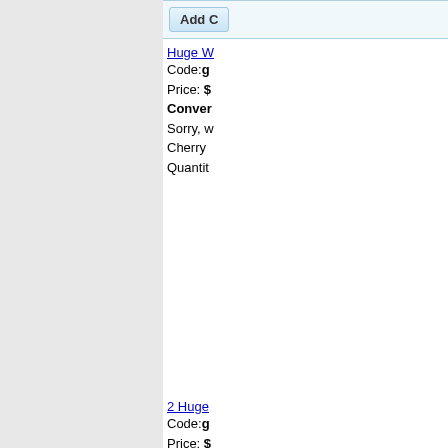[Figure (other): Left gray sidebar panel]
Add C
Huge W
Code: g
Price: $
Conver
Sorry, w
Cherry
Quantit
2 Huge
Code: g
Price: $
Conver
In Stock
Quantit
Add C